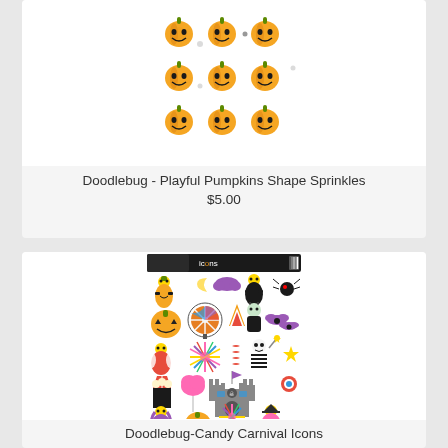[Figure (photo): Product image of Doodlebug Playful Pumpkins Shape Sprinkles sticker sheet showing multiple orange jack-o-lantern pumpkin stickers arranged in rows]
Doodlebug - Playful Pumpkins Shape Sprinkles
$5.00
[Figure (photo): Product image of Doodlebug Candy Carnival Icons sticker sheet showing Halloween character stickers including children in costumes, pumpkins, bats, castle, and carnival elements]
Doodlebug-Candy Carnival Icons